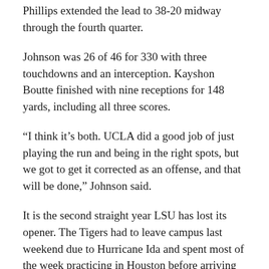Phillips extended the lead to 38-20 midway through the fourth quarter.
Johnson was 26 of 46 for 330 with three touchdowns and an interception. Kayshon Boutte finished with nine receptions for 148 yards, including all three scores.
“I think it’s both. UCLA did a good job of just playing the run and being in the right spots, but we got to get it corrected as an offense, and that will be done,” Johnson said.
It is the second straight year LSU has lost its opener. The Tigers had to leave campus last weekend due to Hurricane Ida and spent most of the week practicing in Houston before arriving in Los Angeles on Thursday.
“I felt good about this football team going in. But you